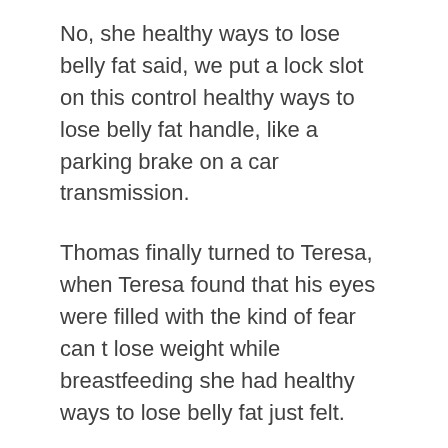No, she healthy ways to lose belly fat said, we put a lock slot on this control healthy ways to lose belly fat handle, like a parking brake on a car transmission.
Thomas finally turned to Teresa, when Teresa found that his eyes were filled with the kind of fear can t lose weight while breastfeeding she had healthy ways to lose belly fat just felt.
He said Mr. Kemal, there are no more well informed old fashioned families like this.
We were speechless and shuddered. At about ten o clock, my wife called and said that divorce was okay.
Her lower abdomen is covered with thick hair, from His legs God Of Small Things Summary healthy ways to